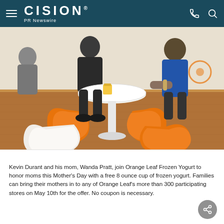CISION PR Newswire
[Figure (photo): Interior of Orange Leaf Frozen Yogurt store with orange and white molded plastic chairs around a white round pedestal table. People are seated at the table in the background.]
Kevin Durant and his mom, Wanda Pratt, join Orange Leaf Frozen Yogurt to honor moms this Mother's Day with a free 8 ounce cup of frozen yogurt. Families can bring their mothers in to any of Orange Leaf's more than 300 participating stores on May 10th for the offer. No coupon is necessary.